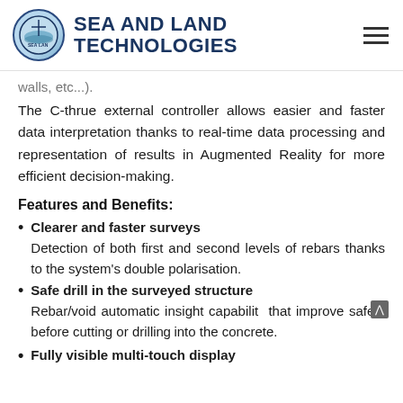SEA AND LAND TECHNOLOGIES
walls, etc...).
The C-thrue external controller allows easier and faster data interpretation thanks to real-time data processing and representation of results in Augmented Reality for more efficient decision-making.
Features and Benefits:
Clearer and faster surveys — Detection of both first and second levels of rebars thanks to the system's double polarisation.
Safe drill in the surveyed structure — Rebar/void automatic insight capability that improve safety before cutting or drilling into the concrete.
Fully visible multi-touch display